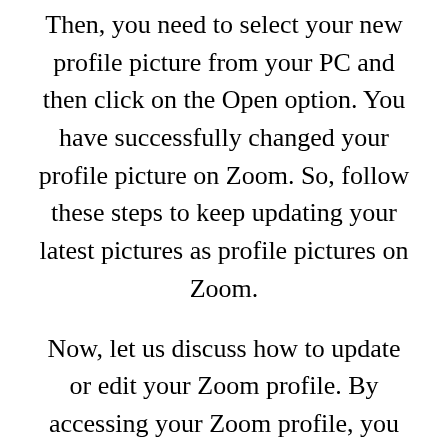Then, you need to select your new profile picture from your PC and then click on the Open option. You have successfully changed your profile picture on Zoom. So, follow these steps to keep updating your latest pictures as profile pictures on Zoom.
Now, let us discuss how to update or edit your Zoom profile. By accessing your Zoom profile, you can change or edit various details related to your Zoom profile such as name, email address, job title, phone number,